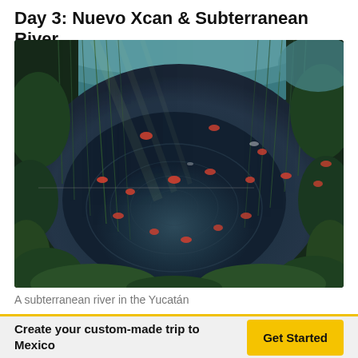Day 3: Nuevo Xcan & Subterranean River
[Figure (photo): Aerial top-down view of a cenote (subterranean river) in the Yucatán, showing dark blue water surrounded by lush green jungle vegetation and hanging roots, with multiple swimmers visible in the water]
A subterranean river in the Yucatán
Create your custom-made trip to Mexico
Get Started